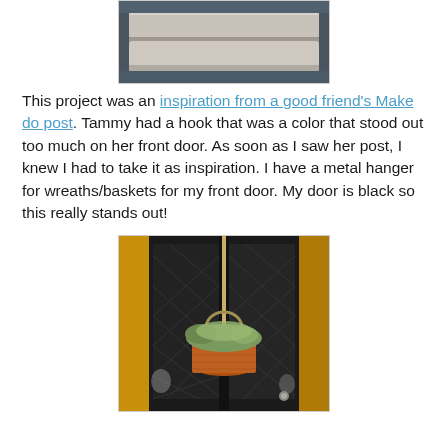[Figure (photo): Photo of stacked stone or concrete blocks, grayish beige, close-up view against a darker background]
This project was an inspiration from a good friend's Make do post. Tammy had a hook that was a color that stood out too much on her front door. As soon as I saw her post, I knew I had to take it as inspiration. I have a metal hanger for wreaths/baskets for my front door. My door is black so this really stands out!
[Figure (photo): Photo of a black decorative front door with a wicker basket hanging from a metal hanger, filled with green plants/foliage. The door has ornate lattice-pattern glass panels and is framed by warm yellow/orange wood trim.]